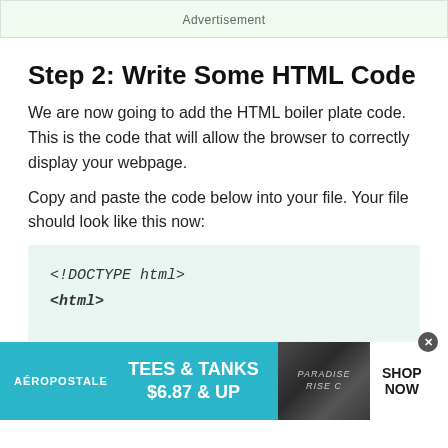Advertisement
Step 2: Write Some HTML Code
We are now going to add the HTML boiler plate code. This is the code that will allow the browser to correctly display your webpage.
Copy and paste the code below into your file. Your file should look like this now:
[Figure (screenshot): Code block showing <!DOCTYPE html> and <html> on a light green background]
[Figure (infographic): Advertisement banner for Aeropostale: TEES & TANKS $6.87 & UP with SHOP NOW button]